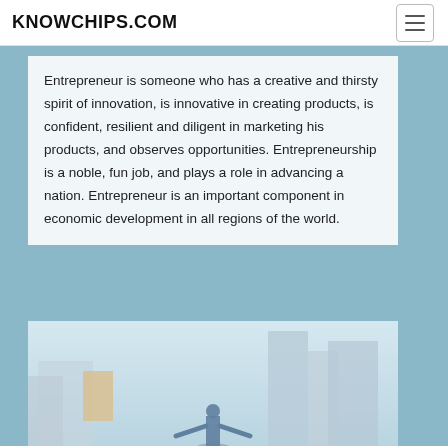KNOWCHIPS.COM
Entrepreneur is someone who has a creative and thirsty spirit of innovation, is innovative in creating products, is confident, resilient and diligent in marketing his products, and observes opportunities. Entrepreneurship is a noble, fun job, and plays a role in advancing a nation. Entrepreneur is an important component in economic development in all regions of the world.
[Figure (photo): A man standing in a city with tall buildings in the background, arms outstretched, viewed from below against a light sky.]